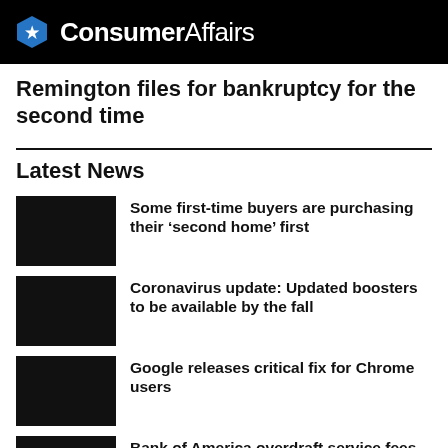ConsumerAffairs
Remington files for bankruptcy for the second time
Latest News
Some first-time buyers are purchasing their ‘second home’ first
Coronavirus update: Updated boosters to be available by the fall
Google releases critical fix for Chrome users
Bank of America overdraft service fees dropped 90% over the last two months